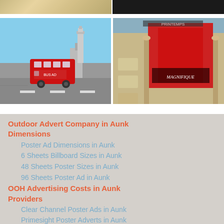[Figure (photo): Top strip: left partial view of a map/illustrated image, right partial view of dark background image]
[Figure (photo): Left: A red double-decker London bus on a grayscale street with Big Ben in the background and blue sky]
[Figure (photo): Right: A building (Printemps) with large outdoor advertising billboard showing a woman in a red fashion ad]
Outdoor Advert Company in Aunk Dimensions
Poster Ad Dimensions in Aunk
6 Sheets Billboard Sizes in Aunk
48 Sheets Poster Sizes in Aunk
96 Sheets Poster Ad in Aunk
OOH Advertising Costs in Aunk Providers
Clear Channel Poster Ads in Aunk
Primesight Poster Adverts in Aunk